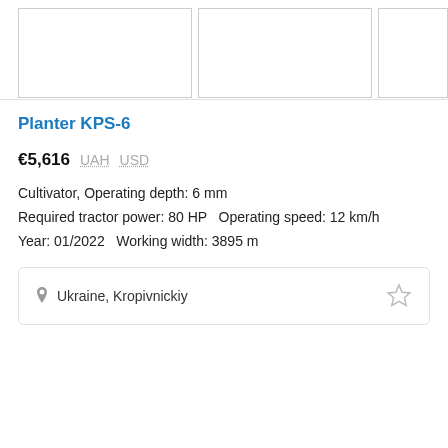[Figure (photo): Three image placeholders for product photos shown as white boxes with light borders in a horizontal row]
Planter KPS-6
€5,616  UAH  USD
Cultivator, Operating depth: 6 mm
Required tractor power: 80 HP  Operating speed: 12 km/h
Year: 01/2022  Working width: 3895 m
Ukraine, Kropivnickiy